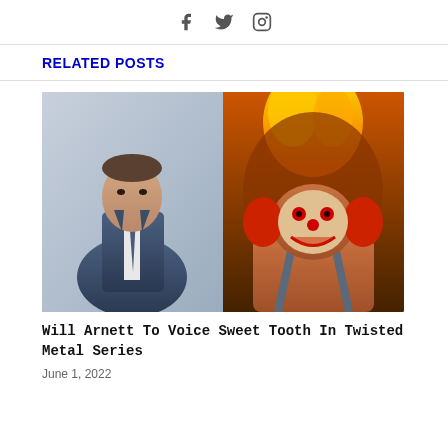Social media icons: Facebook, Twitter, Instagram
RELATED POSTS
[Figure (photo): Split image: left side shows Will Arnett in a blue suit; right side shows Sweet Tooth, a flaming clown character from Twisted Metal video game]
Will Arnett To Voice Sweet Tooth In Twisted Metal Series
June 1, 2022